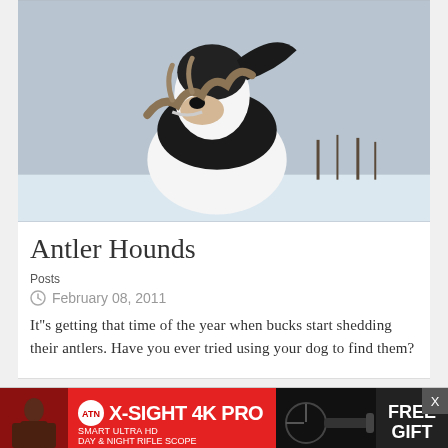[Figure (photo): A dog carrying an antler in its mouth in a snowy outdoor scene. The dog appears to be a black and white breed, photographed from below against a grey sky.]
Antler Hounds
Posts
February 08, 2011
It''s getting that time of the year when bucks start shedding their antlers. Have you ever tried using your dog to find them?
[Figure (screenshot): Advertisement banner for ATN X-SIGHT 4K PRO Smart Ultra HD Day & Night Rifle Scope with a FREE GIFT offer. Red and dark background with scope image.]